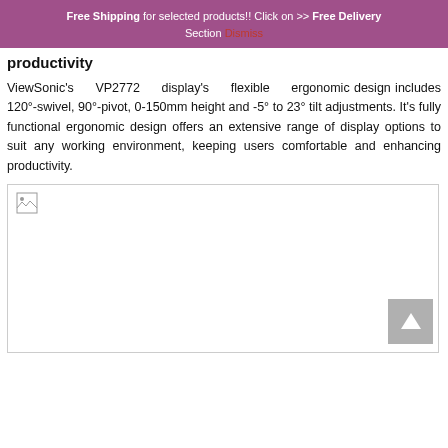Free Shipping for selected products!! Click on >> Free Delivery Section Dismiss
productivity
ViewSonic's VP2772 display's flexible ergonomic design includes 120°-swivel, 90°-pivot, 0-150mm height and -5° to 23° tilt adjustments. It's fully functional ergonomic design offers an extensive range of display options to suit any working environment, keeping users comfortable and enhancing productivity.
[Figure (photo): Product image placeholder (broken image icon visible in top-left corner) with a back-to-top button in the bottom-right area]